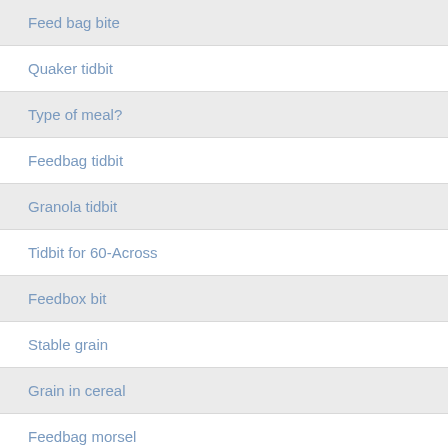Feed bag bite
Quaker tidbit
Type of meal?
Feedbag tidbit
Granola tidbit
Tidbit for 60-Across
Feedbox bit
Stable grain
Grain in cereal
Feedbag morsel